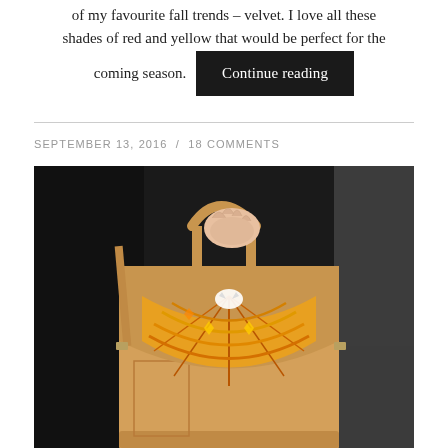of my favourite fall trends – velvet. I love all these shades of red and yellow that would be perfect for the coming season.
Continue reading
SEPTEMBER 13, 2016  /  18 COMMENTS
[Figure (photo): A tan leather handbag with a beaded semicircular flap decoration featuring orange, yellow, and white sun/burst pattern, being held by a hand against a dark coat background.]